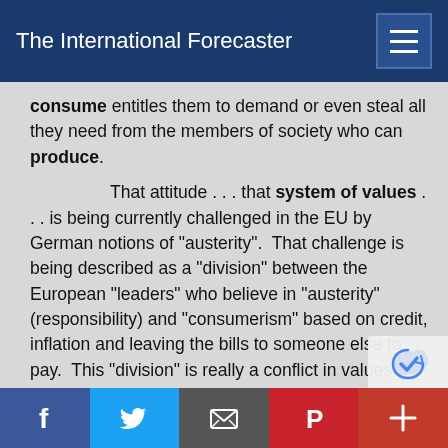The International Forecaster
consume entitles them to demand or even steal all they need from the members of society who can produce.

That attitude . . . that system of values . . . is being currently challenged in the EU by German notions of "austerity".  That challenge is being described as a "division" between the European "leaders" who believe in "austerity" (responsibility) and "consumerism" based on credit, inflation and leaving the bills to someone else to pay.  This "division" is really a conflict in values between consumers/debtors and producers/creditors.

*  The EU's capacity for economic growth has been strangled by the "staggering public debt" rung up by EU politicians and consumers.  They've reached a point where they can't borrow enough money to sustain their "party".  They're left with two
Facebook  Twitter  Email  Pinterest  +